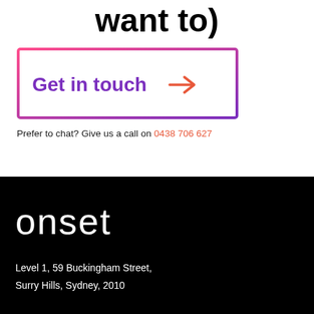want to)
[Figure (other): Button with gradient border (pink to purple) containing text 'Get in touch' and an orange arrow pointing right]
Prefer to chat? Give us a call on 0438 706 627
[Figure (logo): onset logo in white text on black background]
Level 1, 59 Buckingham Street,
Surry Hills, Sydney, 2010